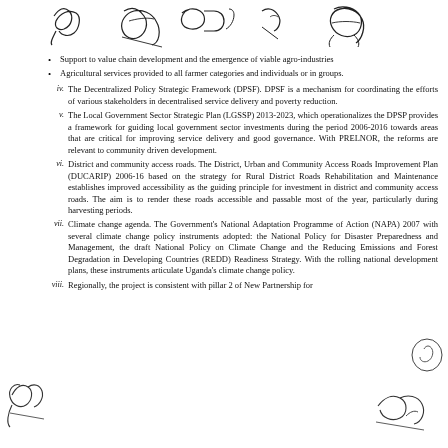[Figure (illustration): Multiple handwritten signatures at the top of the page]
Support to value chain development and the emergence of viable agro-industries
Agricultural services provided to all farmer categories and individuals or in groups.
iv. The Decentralized Policy Strategic Framework (DPSF). DPSF is a mechanism for coordinating the efforts of various stakeholders in decentralised service delivery and poverty reduction.
v. The Local Government Sector Strategic Plan (LGSSP) 2013-2023, which operationalizes the DPSP provides a framework for guiding local government sector investments during the period 2006-2016 towards areas that are critical for improving service delivery and good governance. With PRELNOR, the reforms are relevant to community driven development.
vi. District and community access roads. The District, Urban and Community Access Roads Improvement Plan (DUCARIP) 2006-16 based on the strategy for Rural District Roads Rehabilitation and Maintenance establishes improved accessibility as the guiding principle for investment in district and community access roads. The aim is to render these roads accessible and passable most of the year, particularly during harvesting periods.
vii. Climate change agenda. The Government's National Adaptation Programme of Action (NAPA) 2007 with several climate change policy instruments adopted: the National Policy for Disaster Preparedness and Management, the draft National Policy on Climate Change and the Reducing Emissions and Forest Degradation in Developing Countries (REDD) Readiness Strategy. With the rolling national development plans, these instruments articulate Uganda's climate change policy.
viii. Regionally, the project is consistent with pillar 2 of New Partnership for
[Figure (illustration): Handwritten signatures at the bottom left and bottom right of the page, with a circular stamp/signature on the right side]